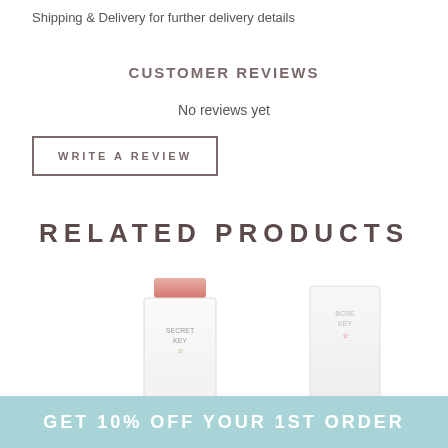Shipping & Delivery for further delivery details
CUSTOMER REVIEWS
No reviews yet
WRITE A REVIEW
RELATED PRODUCTS
[Figure (photo): Two Secret Key skincare product bottles side by side - a bottle with rose gold cap on the left and a tube on the right]
GET 10% OFF YOUR 1ST ORDER